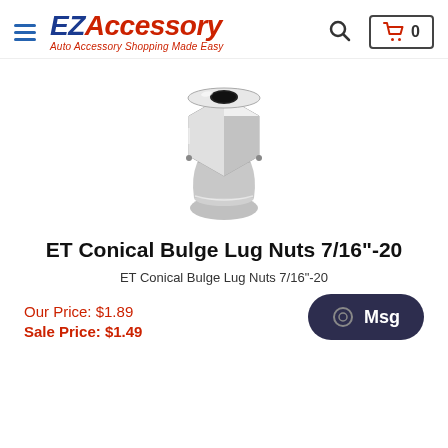EZAccessory - Auto Accessory Shopping Made Easy
[Figure (photo): Chrome lug nut with conical bulge shape, hexagonal body, shown on white background]
ET Conical Bulge Lug Nuts 7/16"-20
ET Conical Bulge Lug Nuts 7/16"-20
Our Price: $1.89
Sale Price: $1.49